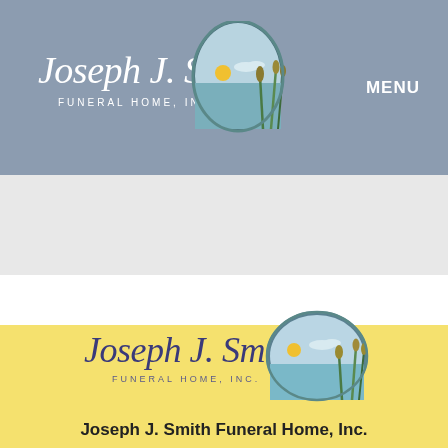[Figure (logo): Joseph J. Smith Funeral Home, Inc. logo in header — script text with oval landscape illustration containing sun, water, and reeds]
MENU
[Figure (logo): Joseph J. Smith Funeral Home, Inc. logo in yellow section — larger version of the same script text with oval landscape illustration]
Joseph J. Smith Funeral Home, Inc.